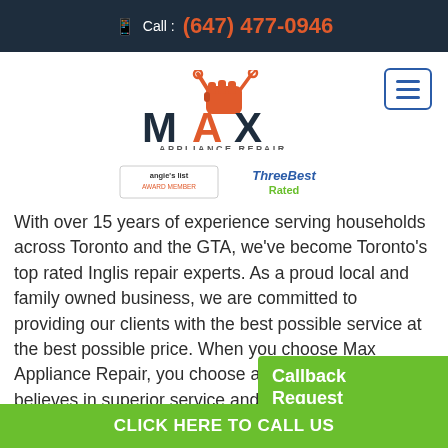Call : (647) 477-0946
[Figure (logo): MAX Appliance Repair logo with red fist holding wrench and key, dark blue MAX text, APPLIANCE REPAIR subtitle]
[Figure (logo): Angie's List award member badge and ThreeBest Rated badge]
With over 15 years of experience serving households across Toronto and the GTA, we've become Toronto's top rated Inglis repair experts. As a proud local and family owned business, we are committed to providing our clients with the best possible service at the best possible price. When you choose Max Appliance Repair, you choose a company that believes in superior service and fair prices. Our experts are equipped with common parts and
[Figure (infographic): Callback Request green button widget with text 'Callback Request' and subtext 'We will call you as soon as possible']
CLICK HERE TO CALL US